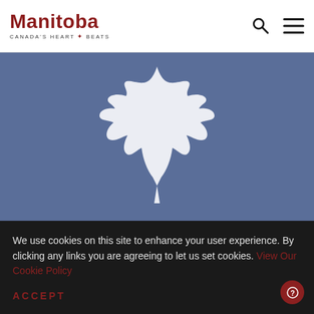[Figure (logo): Manitoba government logo with text 'Manitoba' in dark red and tagline 'Canada's Heart Beats' with a small maple leaf icon]
[Figure (illustration): Blue background hero image with a large white maple leaf silhouette centered in the frame]
We use cookies on this site to enhance your user experience. By clicking any links you are agreeing to let us set cookies. View Our Cookie Policy
ACCEPT